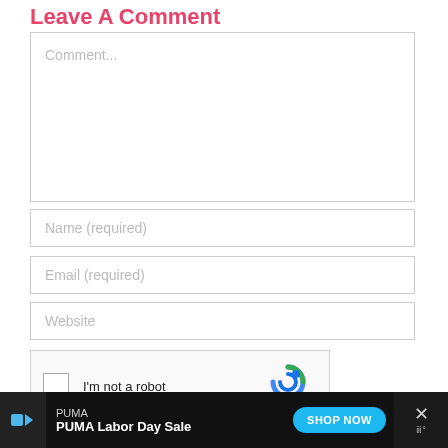Leave A Comment
[Figure (screenshot): Comment text area input field with placeholder text 'Comment...']
[Figure (screenshot): Name (required) input field]
[Figure (screenshot): Email (required) input field]
[Figure (screenshot): Website input field]
[Figure (screenshot): reCAPTCHA widget with checkbox labeled 'I'm not a robot' and reCAPTCHA logo with Privacy and Terms links]
[Figure (screenshot): PUMA advertisement banner at bottom: 'PUMA Labor Day Sale' with 'SHOP NOW' button in blue]